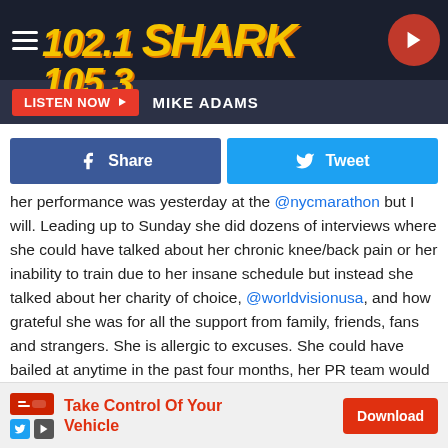102.1 THE SHARK 105.3 — LISTEN NOW — MIKE ADAMS
[Figure (screenshot): Social share buttons: blue Facebook Share button and blue Twitter Tweet button]
her performance was yesterday at the @nycmarathon but I will. Leading up to Sunday she did dozens of interviews where she could have talked about her chronic knee/back pain or her inability to train due to her insane schedule but instead she talked about her charity of choice, @worldvisionusa, and how grateful she was for all the support from family, friends, fans and strangers. She is allergic to excuses. She could have bailed at anytime in the past four months, her PR team would have handled it, but that is just not who she is. She said she was going to do something and she did it. No one will remember her “time” but the fact that she went out and ran (check the hundreds of videos online - there was very little walking) this race in 4 hours and 40 minutes is heroic and shows the power of
[Figure (screenshot): Advertisement banner: Take Control Of Your Vehicle with Download button]